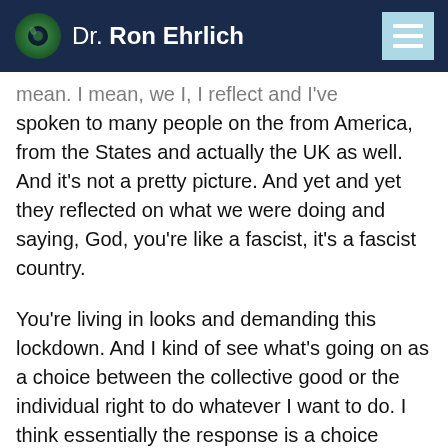Dr. Ron Ehrlich
mean. I mean, we I, I reflect and I've spoken to many people on the from America, from the States and actually the UK as well. And it's not a pretty picture. And yet and yet they reflected on what we were doing and saying, God, you're like a fascist, it's a fascist country.
You're living in looks and demanding this lockdown. And I kind of see what's going on as a choice between the collective good or the individual right to do whatever I want to do. I think essentially the response is a choice between that.